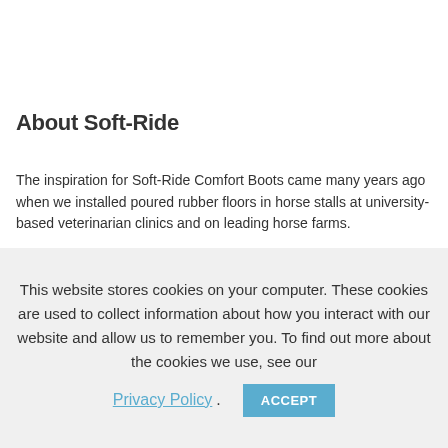About Soft-Ride
The inspiration for Soft-Ride Comfort Boots came many years ago when we installed poured rubber floors in horse stalls at university-based veterinarian clinics and on leading horse farms.
This website stores cookies on your computer. These cookies are used to collect information about how you interact with our website and allow us to remember you. To find out more about the cookies we use, see our Privacy Policy. ACCEPT